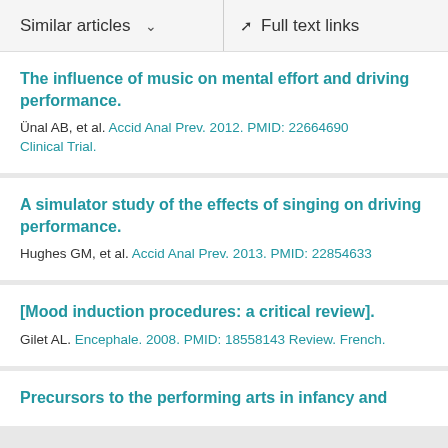Similar articles   Full text links
The influence of music on mental effort and driving performance.
Ünal AB, et al. Accid Anal Prev. 2012. PMID: 22664690 Clinical Trial.
A simulator study of the effects of singing on driving performance.
Hughes GM, et al. Accid Anal Prev. 2013. PMID: 22854633
[Mood induction procedures: a critical review].
Gilet AL. Encephale. 2008. PMID: 18558143 Review. French.
Precursors to the performing arts in infancy and